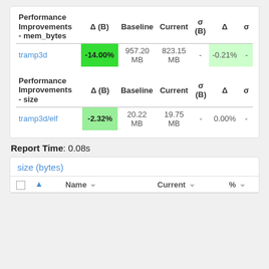| Performance Improvements - mem_bytes | Δ (B) | Baseline | Current | σ (B) | Δ | σ |
| --- | --- | --- | --- | --- | --- | --- |
| tramp3d | -14.00% | 957.20 MB | 823.15 MB | - | -0.21% | - |
| Performance Improvements - size | Δ (B) | Baseline | Current | σ (B) | Δ | σ |
| --- | --- | --- | --- | --- | --- | --- |
| tramp3d/elf | -2.32% | 20.22 MB | 19.75 MB | - | 0.00% | - |
Report Time: 0.08s
size (bytes)
|  | Name |  | Current |  | % |  |
| --- | --- | --- | --- | --- | --- | --- |